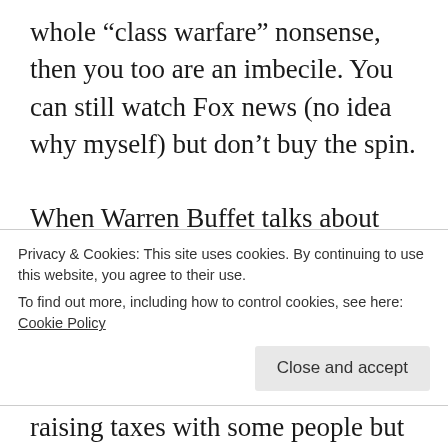whole “class warfare” nonsense, then you too are an imbecile. You can still watch Fox news (no idea why myself) but don’t buy the spin.

When Warren Buffet talks about closing loop holes, people should understand that he know’s what he’s talking about. He should be the sort of person Fox would listen to: self-made and wealthy. He’s a smart and very successful. So now he’s a socialist…? How did they form that conclusion?
Privacy & Cookies: This site uses cookies. By continuing to use this website, you agree to their use.
To find out more, including how to control cookies, see here: Cookie Policy
raising taxes with some people but they have no